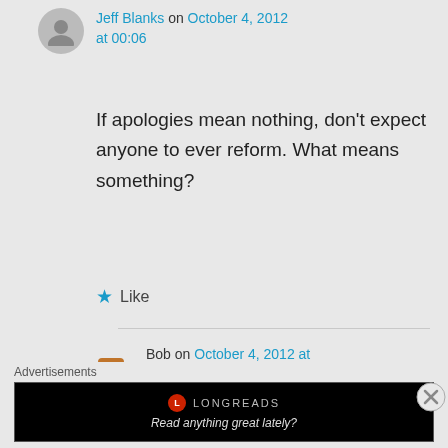Jeff Blanks on October 4, 2012 at 00:06
If apologies mean nothing, don’t expect anyone to ever reform. What means something?
★ Like
Bob on October 4, 2012 at 01:30
Apologies definitely mean
Advertisements
[Figure (screenshot): Longreads advertisement banner: black background with Longreads logo and tagline 'Read anything great lately?']